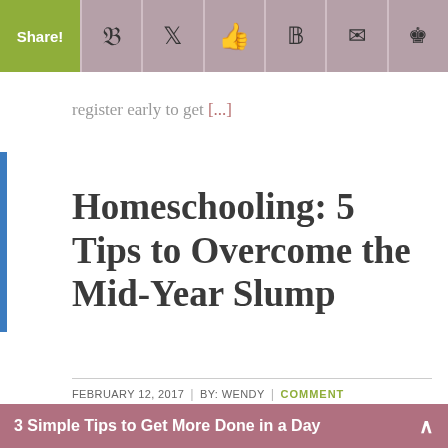Share! [social icons: Facebook, Twitter, Thumbs Up, Pinterest, Email, Crown]
register early to get [...]
Homeschooling: 5 Tips to Overcome the Mid-Year Slump
FEBRUARY 12, 2017  |  BY: WENDY  |  COMMENT
[Figure (photo): Photo of a person with brown hair, books visible on the right side]
I am a
3 Simple Tips to Get More Done in a Day